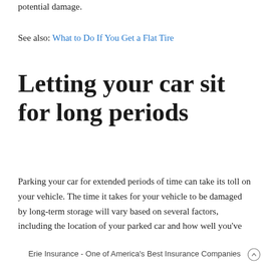potential damage.
See also: What to Do If You Get a Flat Tire
Letting your car sit for long periods
Parking your car for extended periods of time can take its toll on your vehicle. The time it takes for your vehicle to be damaged by long-term storage will vary based on several factors, including the location of your parked car and how well you've
Erie Insurance - One of America's Best Insurance Companies